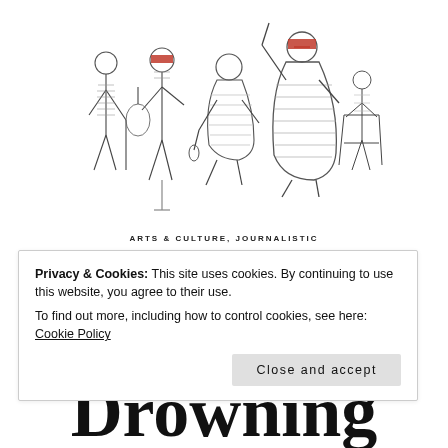[Figure (illustration): Hand-drawn sketch illustration of five figures: from left, a person with a cane, a person with a red hat playing guitar, a person with a microphone, a larger person in a red hat with arm raised holding a stick, and a smaller figure with a walking frame. Drawn in pencil/ink style with hatching.]
ARTS & CULTURE, JOURNALISTIC
Privacy & Cookies: This site uses cookies. By continuing to use this website, you agree to their use.
To find out more, including how to control cookies, see here: Cookie Policy
Drowning